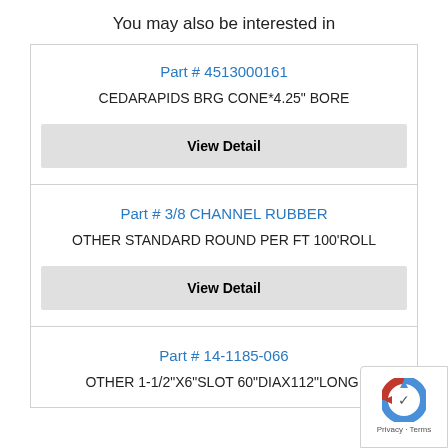You may also be interested in
Part # 4513000161
CEDARAPIDS BRG CONE*4.25" BORE
View Detail
Part # 3/8 CHANNEL RUBBER
OTHER STANDARD ROUND PER FT 100'ROLL
View Detail
Part # 14-1185-066
OTHER 1-1/2"X6"SLOT 60"DIAX112"LONG,